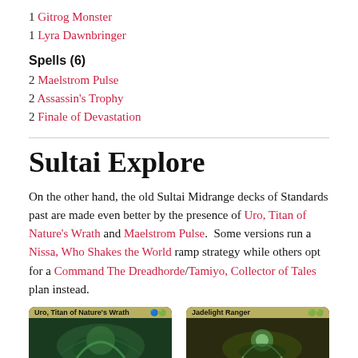1 Gitrog Monster
1 Lyra Dawnbringer
Spells (6)
2 Maelstrom Pulse
2 Assassin's Trophy
2 Finale of Devastation
Sultai Explore
On the other hand, the old Sultai Midrange decks of Standards past are made even better by the presence of Uro, Titan of Nature's Wrath and Maelstrom Pulse.  Some versions run a Nissa, Who Shakes the World ramp strategy while others opt for a Command The Dreadhorde/Tamiyo, Collector of Tales plan instead.
[Figure (photo): Card image: Uro, Titan of Nature's Wrath]
[Figure (photo): Card image: Jadelight Ranger]